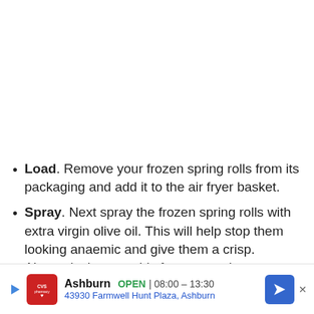Load. Remove your frozen spring rolls from its packaging and add it to the air fryer basket.
Spray. Next spray the frozen spring rolls with extra virgin olive oil. This will help stop them looking anaemic and give them a crisp. Alternatively swap this for egg wash.
Cook. Air fry your spring rolls from frozen for 7
[Figure (other): CVS Pharmacy advertisement banner showing Ashburn location, OPEN 08:00-13:30, 43930 Farmwell Hunt Plaza, Ashburn]